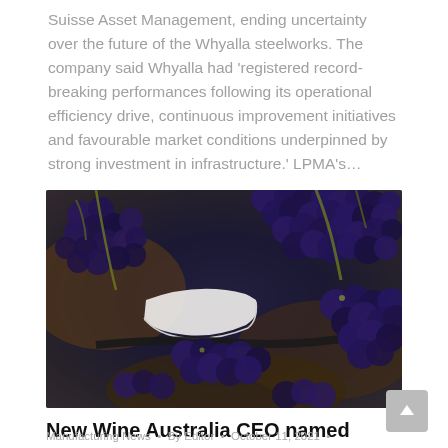Suisse Asset Management, ending uncertainty over the future of the Whyalla steelworks. The company said Whyalla had 'registered record-breaking performances following its operational efficiency drive, continuous improvement initiatives and favourable market conditions underpinned by strong investment in infrastructure.' LPMA's…
[Figure (photo): Close-up photograph of dark blue/purple wine grape clusters harvested in bins or containers, with green stems and brown background]
New Wine Australia CEO named
Manufacturing News  •  By Editor  •  October 11, 2021  •